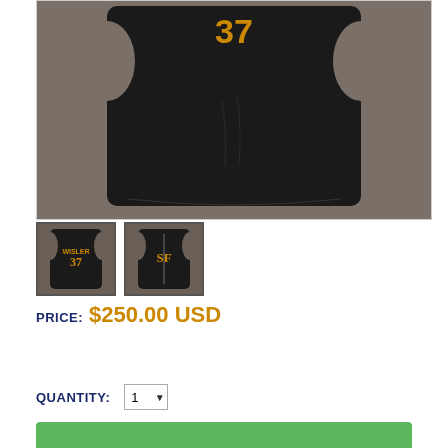[Figure (photo): Main product photo of a dark/black SF Giants baseball jersey (back view showing number 37) laid flat on a gray surface]
[Figure (photo): Thumbnail 1: Front view of dark SF Giants jersey showing WISLER #37]
[Figure (photo): Thumbnail 2: Back view of dark SF Giants jersey showing SF logo on front]
PRICE: $250.00 USD
QUANTITY: 1